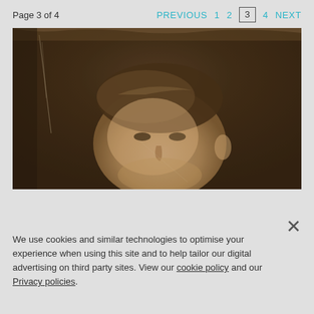Page 3 of 4   PREVIOUS  1  2  3  4  NEXT
[Figure (photo): Sepia-toned historical portrait photograph of a young man, cropped to show head and upper face, with dark background. Photo shows aging/scratches typical of an old photograph.]
We use cookies and similar technologies to optimise your experience when using this site and to help tailor our digital advertising on third party sites. View our cookie policy and our Privacy policies.